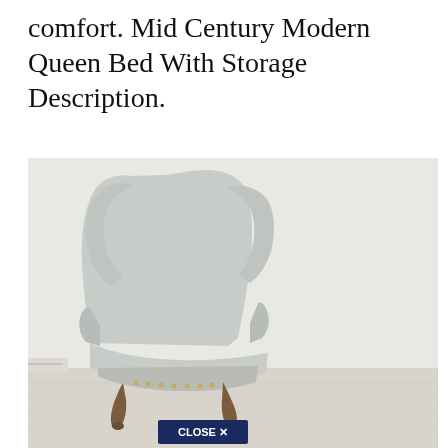comfort. Mid Century Modern Queen Bed With Storage Description.
[Figure (photo): A wingback armchair upholstered in light grey fabric with ornate carved wooden legs in dark brown. The chair is photographed against a white wall in a bright, minimalist room with white painted floorboards. A 'CLOSE X' button overlay appears at the bottom center of the image.]